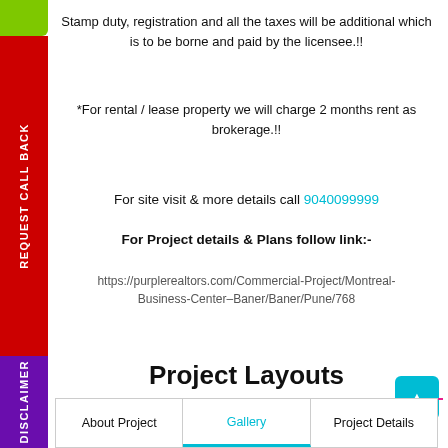Stamp duty, registration and all the taxes will be additional which is to be borne and paid by the licensee.!!
*For rental / lease property we will charge 2 months rent as brokerage.!!
For site visit & more details call 9040099999
For Project details & Plans follow link:-
https://purplerealtors.com/Commercial-Project/Montreal-Business-Center–Baner/Baner/Pune/768
Project Layouts
About Project | Gallery | Project Details